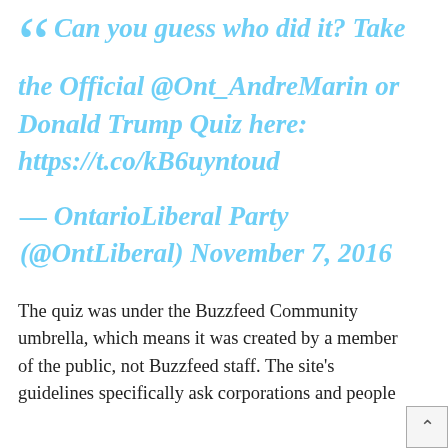“ Can you guess who did it? Take the Official @Ont_AndreMarin or Donald Trump Quiz here: https://t.co/kB6uyntoud — OntarioLiberal Party (@OntLiberal) November 7, 2016
The quiz was under the Buzzfeed Community umbrella, which means it was created by a member of the public, not Buzzfeed staff. The site's guidelines specifically ask corporations and people with no traditional media platform from